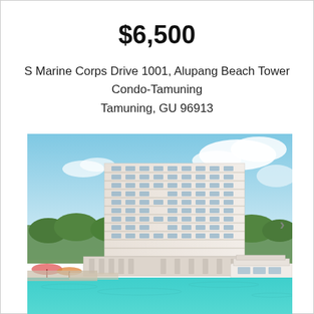$6,500
S Marine Corps Drive 1001, Alupang Beach Tower Condo-Tamuning
Tamuning, GU 96913
[Figure (photo): Exterior photo of Alupang Beach Tower, a tall white multi-story condominium building photographed from the water. The building has many floors with horizontal balcony bands. Blue sky with clouds in the background, tropical trees visible, and a white boat/yacht on the right side. Turquoise water in the foreground, beach umbrellas and people at the base of the building.]